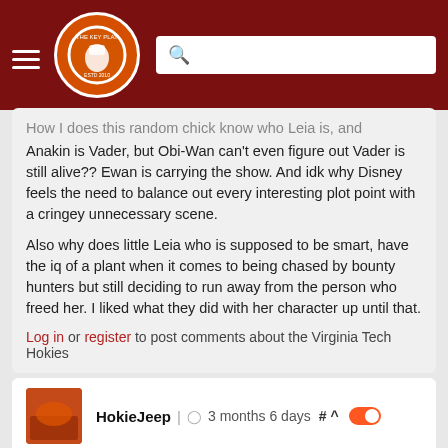The Key Play — navigation header with logo and search bar
How I does this random chick know who Leia is, and Anakin is Vader, but Obi-Wan can't even figure out Vader is still alive?? Ewan is carrying the show. And idk why Disney feels the need to balance out every interesting plot point with a cringey unnecessary scene.

Also why does little Leia who is supposed to be smart, have the iq of a plant when it comes to being chased by bounty hunters but still deciding to run away from the person who freed her. I liked what they did with her character up until that.
Log in or register to post comments about the Virginia Tech Hokies
HokieJeep | 3 months 6 days # ^